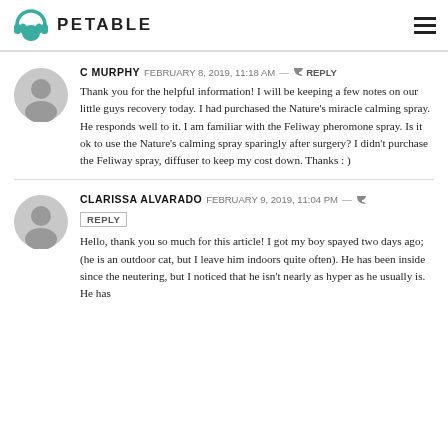PETABLE
C MURPHY   FEBRUARY 8, 2019, 11:18 AM — REPLY
Thank you for the helpful information! I will be keeping a few notes on our little guys recovery today. I had purchased the Nature's miracle calming spray. He responds well to it. I am familiar with the Feliway pheromone spray. Is it ok to use the Nature's calming spray sparingly after surgery? I didn't purchase the Feliway spray, diffuser to keep my cost down. Thanks : )
CLARISSA ALVARADO   FEBRUARY 9, 2019, 11:04 PM — REPLY
Hello, thank you so much for this article! I got my boy spayed two days ago; (he is an outdoor cat, but I leave him indoors quite often). He has been inside since the neutering, but I noticed that he isn't nearly as hyper as he usually is. He has